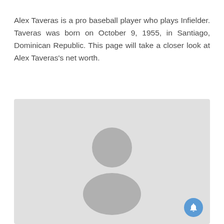Alex Taveras is a pro baseball player who plays Infielder. Taveras was born on October 9, 1955, in Santiago, Dominican Republic. This page will take a closer look at Alex Taveras's net worth.
[Figure (photo): Placeholder image with a generic person silhouette icon on a light gray background]